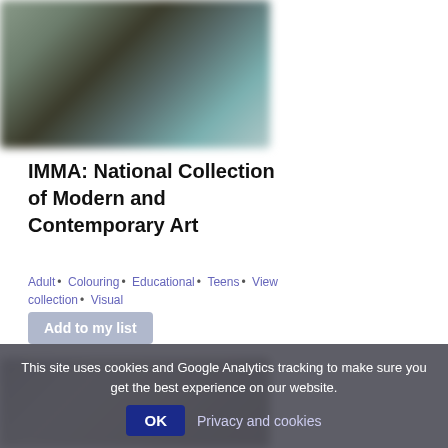[Figure (photo): Blurred thumbnail image of artwork from IMMA national collection]
IMMA: National Collection of Modern and Contemporary Art
Adult • Colouring • Educational • Teens • View collection • Visual
Add to my list
[Figure (photo): Blurred thumbnail image of a second artwork]
This site uses cookies and Google Analytics tracking to make sure you get the best experience on our website.
OK  Privacy and cookies